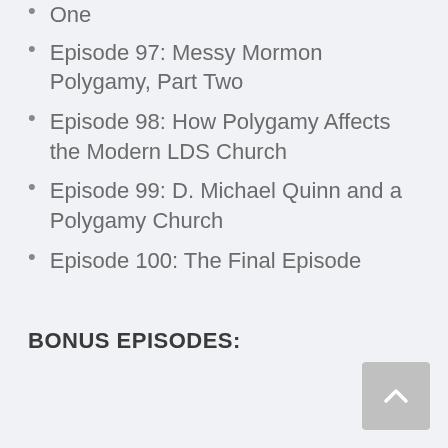One (partial, cropped at top)
Episode 97: Messy Mormon Polygamy, Part Two
Episode 98: How Polygamy Affects the Modern LDS Church
Episode 99: D. Michael Quinn and a Polygamy Church
Episode 100: The Final Episode
BONUS EPISODES: